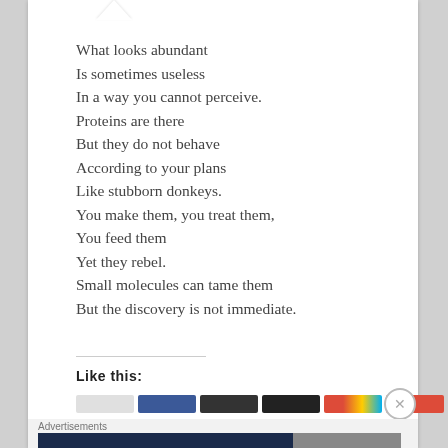What looks abundant
Is sometimes useless
In a way you cannot perceive.
Proteins are there
But they do not behave
According to your plans
Like stubborn donkeys.
You make them, you treat them,
You feed them
Yet they rebel.
Small molecules can tame them
But the discovery is not immediate.
Like this:
Advertisements
[Figure (other): WordPress Hosting advertisement banner: dark navy background with white P logo icon, bold white text 'WORDPRESS HOSTING THAT MEANS BUSINESS.' and an image of an OPEN sign on the right.]